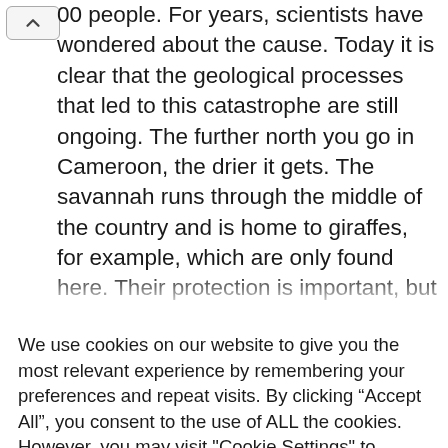00 people. For years, scientists have wondered about the cause. Today it is clear that the geological processes that led to this catastrophe are still ongoing. The further north you go in Cameroon, the drier it gets. The savannah runs through the middle of the country and is home to giraffes, for example, which are only found here. Their protection is important, but their habitat is in areas where humans are also struggling to survive. The
We use cookies on our website to give you the most relevant experience by remembering your preferences and repeat visits. By clicking “Accept All”, you consent to the use of ALL the cookies. However, you may visit "Cookie Settings" to provide a controlled consent.